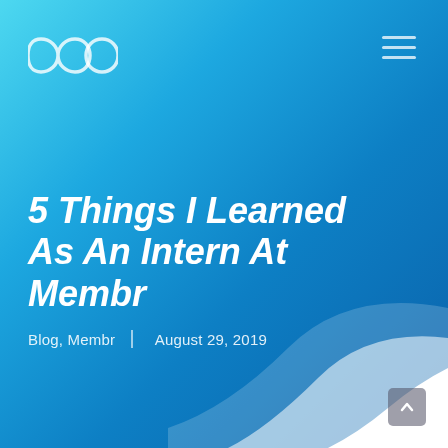[Figure (logo): Membr logo — infinity/loop symbol outline in white on blue gradient background]
5 Things I Learned As An Intern At Membr
Blog, Membr  |  August 29, 2019